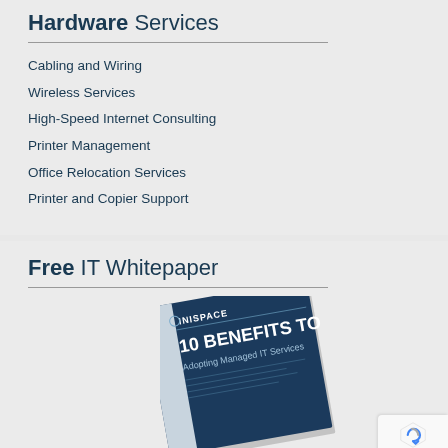Hardware Services
Cabling and Wiring
Wireless Services
High-Speed Internet Consulting
Printer Management
Office Relocation Services
Printer and Copier Support
Free IT Whitepaper
[Figure (illustration): Tilted book/whitepaper cover showing INISPACE logo and '10 BENEFITS TO Adopting Managed IT Services']
[Figure (logo): Google reCAPTCHA badge with Privacy and Terms links]